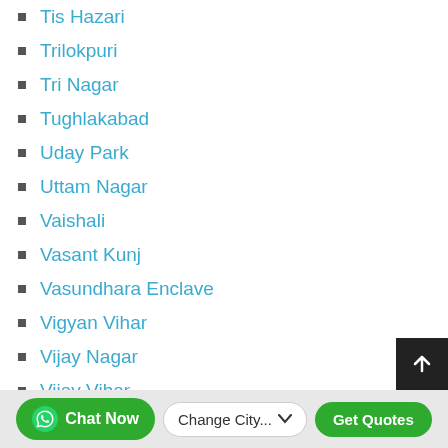Tis Hazari
Trilokpuri
Tri Nagar
Tughlakabad
Uday Park
Uttam Nagar
Vaishali
Vasant Kunj
Vasundhara Enclave
Vigyan Vihar
Vijay Nagar
Vijay Vihar
Chat Now  Change City...  Get Quotes